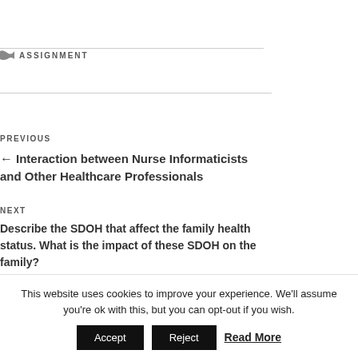ASSIGNMENT
PREVIOUS
← Interaction between Nurse Informaticists and Other Healthcare Professionals
NEXT
Describe the SDOH that affect the family health status. What is the impact of these SDOH on the family?
This website uses cookies to improve your experience. We'll assume you're ok with this, but you can opt-out if you wish. Accept Reject Read More